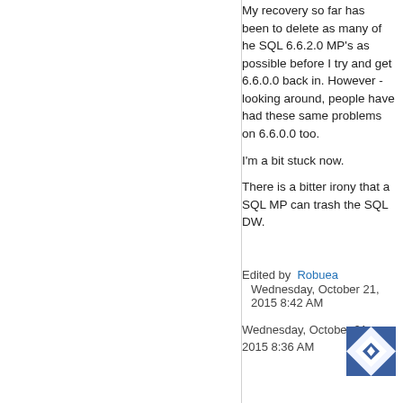My recovery so far has been to delete as many of he SQL 6.6.2.0 MP's as possible before I try and get 6.6.0.0 back in.  However - looking around, people have had these same problems on 6.6.0.0 too.
I'm a bit stuck now.
There is a bitter irony that a SQL MP can trash the SQL DW.
Edited by  Robuea Wednesday, October 21, 2015 8:42 AM
Wednesday, October 21, 2015 8:36 AM
[Figure (illustration): User avatar thumbnail - blue and white geometric pattern]